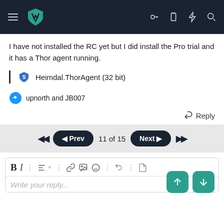[Figure (screenshot): Dark navigation bar with hamburger menu, teal/green shield logo, and right-side icons (key, clipboard, lightning, search)]
I have not installed the RC yet but I did install the Pro trial and it has a Thor agent running.
Heimdal.ThorAgent (32 bit)
upnorth and JB007
Reply
11 of 15
Write your reply...